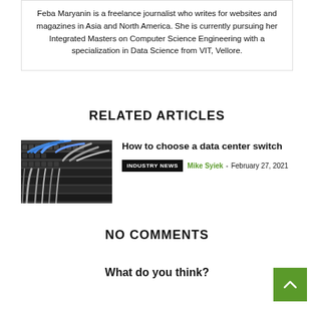Feba Maryanin is a freelance journalist who writes for websites and magazines in Asia and North America. She is currently pursuing her Integrated Masters on Computer Science Engineering with a specialization in Data Science from VIT, Vellore.
RELATED ARTICLES
[Figure (photo): Photo of data center network switch rack with blue and grey cables]
How to choose a data center switch
INDUSTRY NEWS  Mike Syiek - February 27, 2021
NO COMMENTS
What do you think?